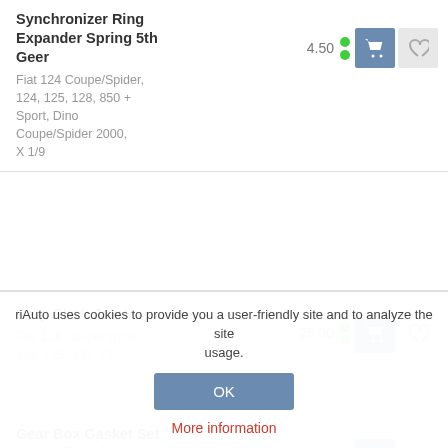Synchronizer Ring Expander Spring 5th Geer
Fiat 124 Coupe/Spider, 124, 125, 128, 850 + Sport, Dino Coupe/Spider 2000, X 1/9
4.50
Prop Shaft Joint
Fiat 124 Coupe/Spider, 124, 125, 131, 132
25.00
Gear Box Gasket Set With Oil Seals
Fiat 124 Coupe/Spider, 125 S
34.50
Gear Box Gasket Set
riAuto uses cookies to provide you a user-friendly site and to analyze the site usage.
OK
More information